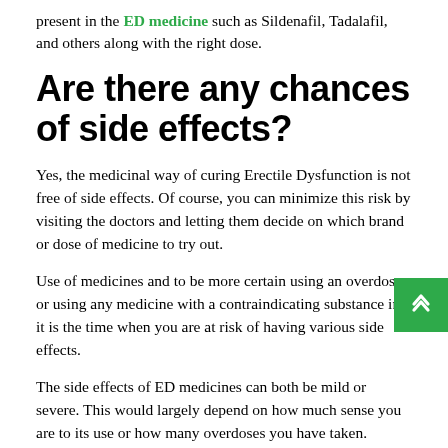present in the ED medicine such as Sildenafil, Tadalafil, and others along with the right dose.
Are there any chances of side effects?
Yes, the medicinal way of curing Erectile Dysfunction is not free of side effects. Of course, you can minimize this risk by visiting the doctors and letting them decide on which brand or dose of medicine to try out.
Use of medicines and to be more certain using an overdose or using any medicine with a contraindicating substance in it is the time when you are at risk of having various side effects.
The side effects of ED medicines can both be mild or severe. This would largely depend on how much sense you are to its use or how many overdoses you have taken.
Some of the mild side effects of using the Erectile